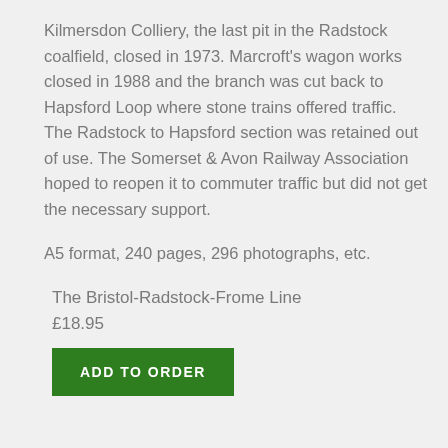Kilmersdon Colliery, the last pit in the Radstock coalfield, closed in 1973. Marcroft's wagon works closed in 1988 and the branch was cut back to Hapsford Loop where stone trains offered traffic. The Radstock to Hapsford section was retained out of use. The Somerset & Avon Railway Association hoped to reopen it to commuter traffic but did not get the necessary support.
A5 format, 240 pages, 296 photographs, etc.
The Bristol-Radstock-Frome Line
£18.95
ADD TO ORDER